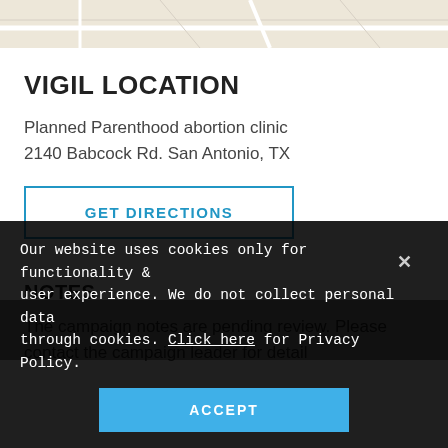[Figure (map): Partial Google Maps screenshot showing street map with Google logo and 'Map data ©2022' attribution]
VIGIL LOCATION
Planned Parenthood abortion clinic
2140 Babcock Rd. San Antonio, TX
GET DIRECTIONS
NOTES
The campaign notes are pending review. Please contact the campaign leader for detail
Our website uses cookies only for functionality & user experience. We do not collect personal data through cookies. Click here for Privacy Policy.
ACCEPT